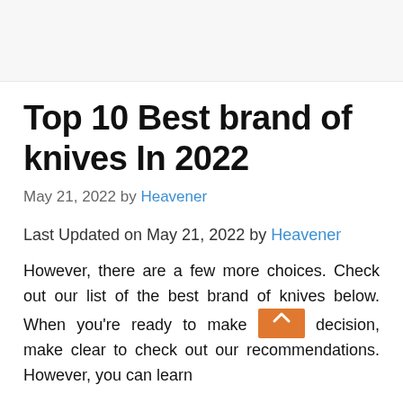Top 10 Best brand of knives In 2022
May 21, 2022 by Heavener
Last Updated on May 21, 2022 by Heavener
However, there are a few more choices. Check out our list of the best brand of knives below. When you're ready to make your decision, make clear to check out our recommendations. However, you can learn